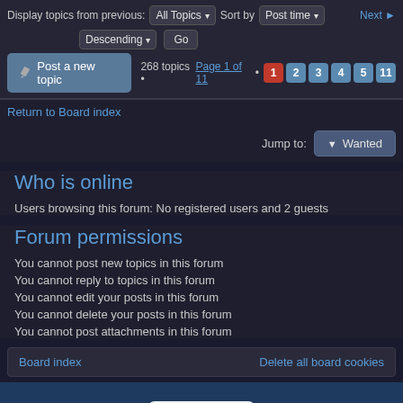Display topics from previous: All Topics ▾  Sort by  Post time ▾  Next ▶
Descending ▾  Go
Post a new topic  268 topics • Page 1 of 11 • 1 2 3 4 5 11
Return to Board index
Jump to:  Wanted
Who is online
Users browsing this forum: No registered users and 2 guests
Forum permissions
You cannot post new topics in this forum
You cannot reply to topics in this forum
You cannot edit your posts in this forum
You cannot delete your posts in this forum
You cannot post attachments in this forum
Board index    Delete all board cookies
[Figure (logo): IPv6 ready badge with green checkmark]